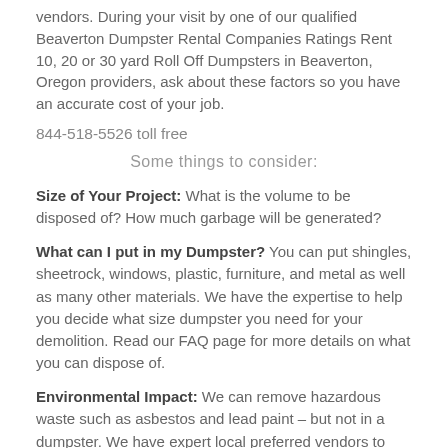vendors. During your visit by one of our qualified Beaverton Dumpster Rental Companies Ratings Rent 10, 20 or 30 yard Roll Off Dumpsters in Beaverton, Oregon providers, ask about these factors so you have an accurate cost of your job.
844-518-5526 toll free
Some things to consider:
Size of Your Project: What is the volume to be disposed of? How much garbage will be generated?
What can I put in my Dumpster? You can put shingles, sheetrock, windows, plastic, furniture, and metal as well as many other materials. We have the expertise to help you decide what size dumpster you need for your demolition. Read our FAQ page for more details on what you can dispose of.
Environmental Impact: We can remove hazardous waste such as asbestos and lead paint – but not in a dumpster. We have expert local preferred vendors to assist you with